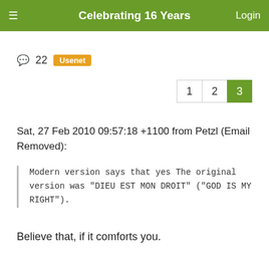Celebrating 16 Years
22  Usenet
1 2 3
Sat, 27 Feb 2010 09:57:18 +1100 from Petzl (Email Removed):
Modern version says that yes The original version was "DIEU EST MON DROIT" ("GOD IS MY RIGHT").
Believe that, if it comforts you.